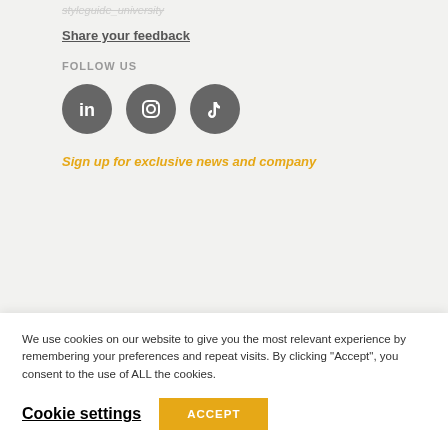Share your feedback
FOLLOW US
[Figure (other): Three social media icon circles: LinkedIn, Instagram, TikTok]
Sign up for exclusive news and company
We use cookies on our website to give you the most relevant experience by remembering your preferences and repeat visits. By clicking “Accept”, you consent to the use of ALL the cookies.
Cookie settings
ACCEPT